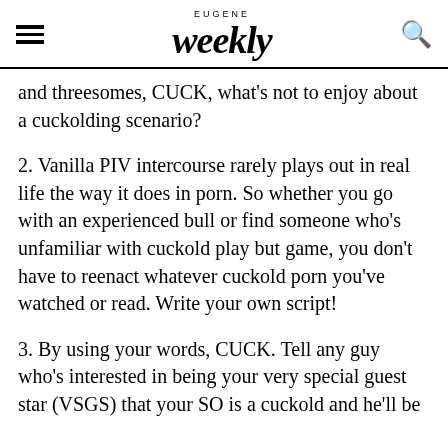Eugene Weekly
and threesomes, CUCK, what's not to enjoy about a cuckolding scenario?
2. Vanilla PIV intercourse rarely plays out in real life the way it does in porn. So whether you go with an experienced bull or find someone who's unfamiliar with cuckold play but game, you don't have to reenact whatever cuckold porn you've watched or read. Write your own script!
3. By using your words, CUCK. Tell any guy who's interested in being your very special guest star (VSGS) that your SO is a cuckold and he'll be